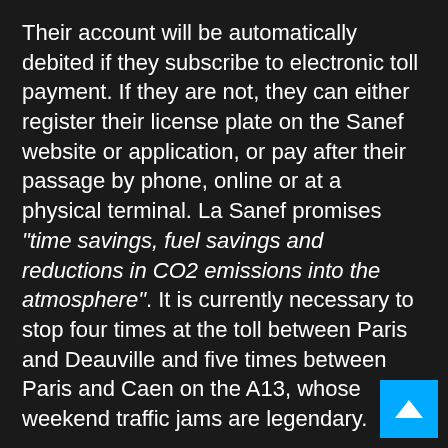Their account will be automatically debited if they subscribe to electronic toll payment. If they are not, they can either register their license plate on the Sanef website or application, or pay after their passage by phone, online or at a physical terminal. La Sanef promises "time savings, fuel savings and reductions in CO2 emissions into the atmosphere". It is currently necessary to stop four times at the toll between Paris and Deauville and five times between Paris and Caen on the A13, whose weekend traffic jams are legendary.
Sanef has been experimenting with this formula since March 2019 at the Boulay-Moselle interchange on the A4 motorway. "The technological system has demonstrated its reliability and customers have become familiar with this new payment system",